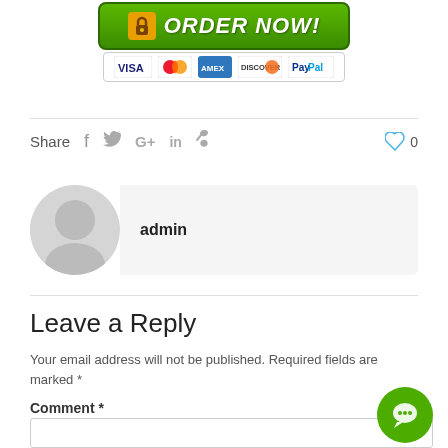[Figure (screenshot): ORDER NOW button with lock icon and payment methods strip (VISA, MasterCard, Amex, Discover, PayPal)]
Share  f  twitter  G+  in  pinterest    ♡ 0
[Figure (illustration): Author avatar placeholder with admin name]
Leave a Reply
Your email address will not be published. Required fields are marked *
Comment *